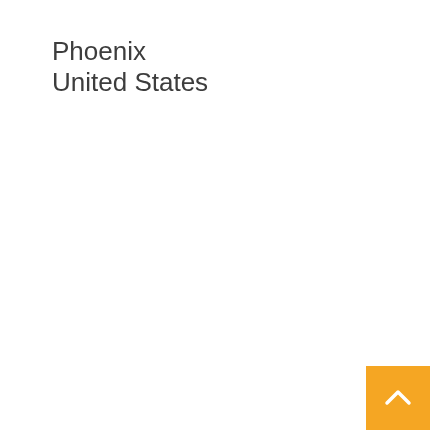Phoenix
United States
[Figure (other): Orange/yellow back-to-top button with upward chevron arrow in bottom-right corner]